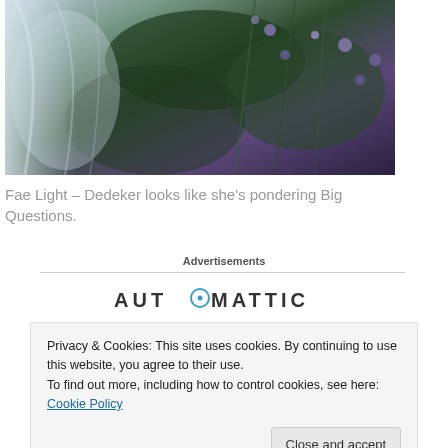[Figure (photo): Close-up photo of a woman in white/light fabric with green plants and purple flowers in the background, dark moody tones]
Fae Light – Dedeker looks like she's pondering Big Questions.
Advertisements
AUTOMATTIC
Privacy & Cookies: This site uses cookies. By continuing to use this website, you agree to their use.
To find out more, including how to control cookies, see here: Cookie Policy